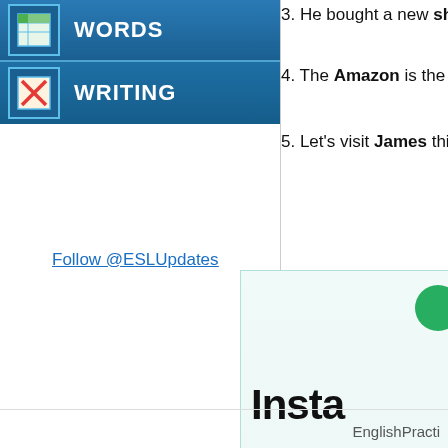WORDS
WRITING
Follow @ESLUpdates
3. He bought a new shirt for his birth…
4. The Amazon is the largest river in…
5. Let's visit James this afternoon.
[Figure (other): Advertisement box for an Instant grammar/writing correction service with green circle icon, bold 'Insta…' title, gray subtitle text 'Correct… and enh…', and red oval button]
EnglishPracti…